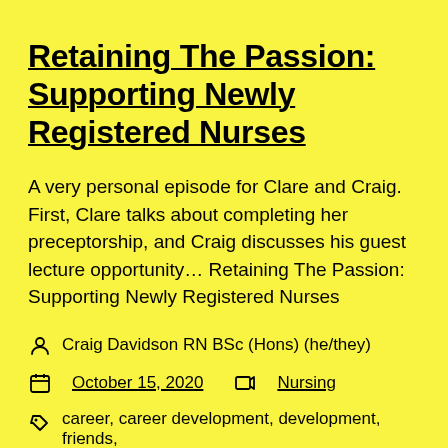Retaining The Passion: Supporting Newly Registered Nurses
A very personal episode for Clare and Craig. First, Clare talks about completing her preceptorship, and Craig discusses his guest lecture opportunity… Retaining The Passion: Supporting Newly Registered Nurses
Craig Davidson RN BSc (Hons) (he/they)
October 15, 2020   Nursing
career, career development, development, friends,